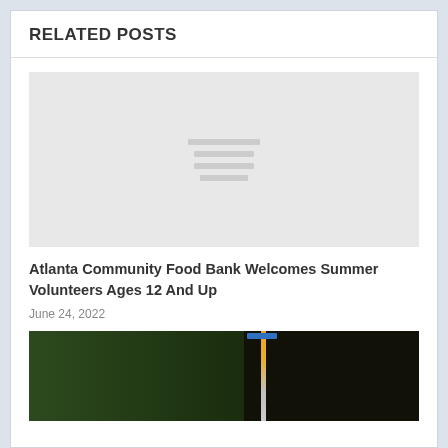RELATED POSTS
[Figure (photo): Placeholder image with loading lines indicator]
Atlanta Community Food Bank Welcomes Summer Volunteers Ages 12 And Up
June 24, 2022
[Figure (photo): Photo showing dark outdoor scene with trees and a yellow/blue crane or post structure]